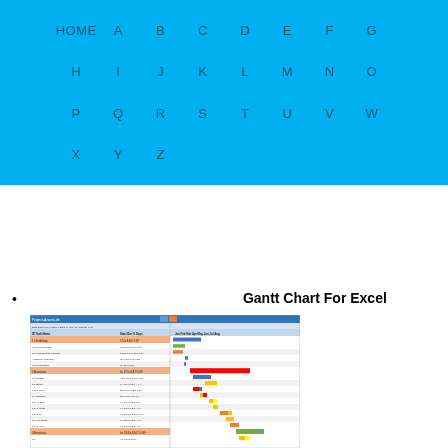HOME A B C D E F G H I J K L M N O P Q R S T U V W X Y Z
Gantt Chart For Excel
[Figure (screenshot): Screenshot of a Gantt chart spreadsheet for Excel showing project tasks with colored horizontal bars representing timelines across multiple rows]